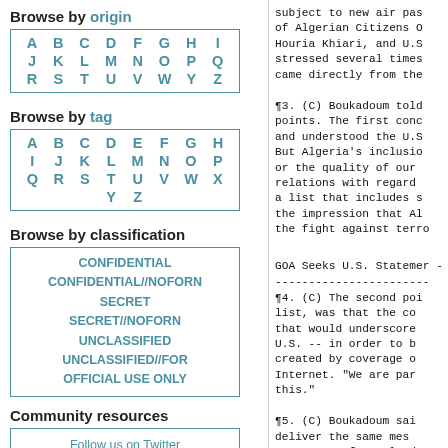Browse by origin
| A | B | C | D | F | G | H | I |
| J | K | L | M | N | O | P | Q |
| R | S | T | U | V | W | Y | Z |
Browse by tag
| A | B | C | D | E | F | G | H |
| I | J | K | L | M | N | O | P |
| Q | R | S | T | U | V | W | X |
|  |  | Y | Z |  |  |  |  |
Browse by classification
CONFIDENTIAL
CONFIDENTIAL//NOFORN
SECRET
SECRET//NOFORN
UNCLASSIFIED
UNCLASSIFIED//FOR OFFICIAL USE ONLY
Community resources
Follow us on Twitter
Check our Reddit
subject to new air pas of Algerian Citizens O Houria Khiari, and U.S stressed several times came directly from the
¶3. (C) Boukadoum told points. The first conc and understood the U.S But Algeria's inclusion or the quality of our relations with regard a list that includes s the impression that Al the fight against terro
GOA Seeks U.S. Statement
¶4. (C) The second poi list, was that the co that would underscore U.S. -- in order to created by coverage o Internet. "We are par this."
¶5. (C) Boukadoum sai deliver the same mes Secretary of Homeland S